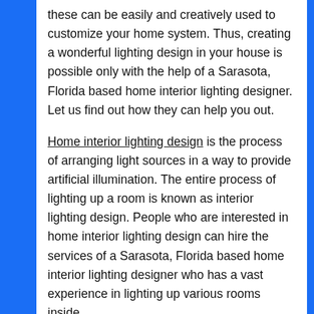these can be easily and creatively used to customize your home system. Thus, creating a wonderful lighting design in your house is possible only with the help of a Sarasota, Florida based home interior lighting designer. Let us find out how they can help you out.
Home interior lighting design is the process of arranging light sources in a way to provide artificial illumination. The entire process of lighting up a room is known as interior lighting design. People who are interested in home interior lighting design can hire the services of a Sarasota, Florida based home interior lighting designer who has a vast experience in lighting up various rooms inside